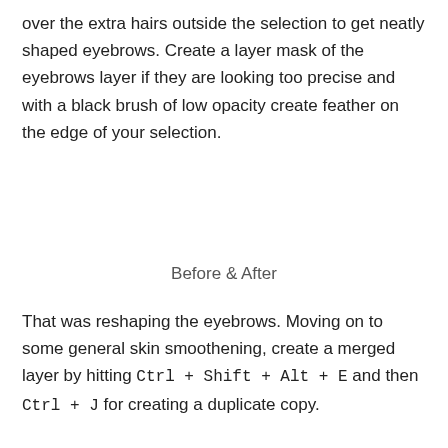over the extra hairs outside the selection to get neatly shaped eyebrows. Create a layer mask of the eyebrows layer if they are looking too precise and with a black brush of low opacity create feather on the edge of your selection.
Before & After
That was reshaping the eyebrows. Moving on to some general skin smoothening, create a merged layer by hitting Ctrl + Shift + Alt + E and then Ctrl + J for creating a duplicate copy.